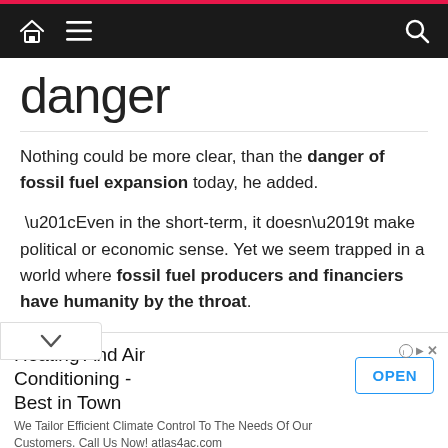Navigation bar with home, menu, and search icons
danger
Nothing could be more clear, than the danger of fossil fuel expansion today, he added.
“Even in the short-term, it doesn’t make political or economic sense. Yet we seem trapped in a world where fossil fuel producers and financiers have humanity by the throat.
“For decades, many in the fossil fuel industry has invested heavily in pseudo-science and public tions – with a false narrative to minimize their
[Figure (infographic): Advertisement banner: Heating And Air Conditioning - Best in Town. OPEN button. Description: We Tailor Efficient Climate Control To The Needs Of Our Customers. Call Us Now! atlas4ac.com]